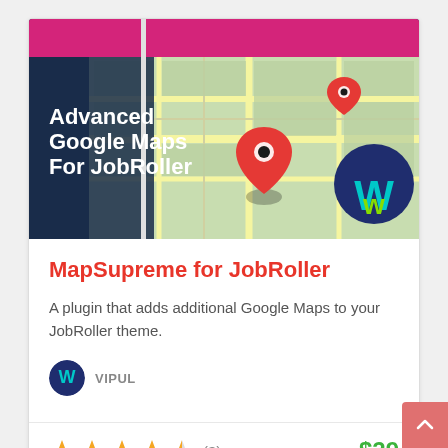[Figure (screenshot): Product banner image showing a Google Maps background with location pins, a white flag graphic, bold white text 'Advanced Google Maps For JobRoller', and a dark blue circular logo with a turquoise/green W symbol in the lower right.]
MapSupreme for JobRoller
A plugin that adds additional Google Maps to your JobRoller theme.
VIPUL
★★★★★ (3)  $29